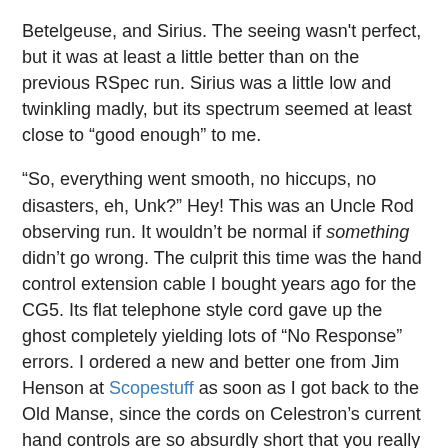Betelgeuse, and Sirius. The seeing wasn't perfect, but it was at least a little better than on the previous RSpec run. Sirius was a little low and twinkling madly, but its spectrum seemed at least close to “good enough” to me.
“So, everything went smooth, no hiccups, no disasters, eh, Unk?” Hey! This was an Uncle Rod observing run. It wouldn’t be normal if something didn’t go wrong. The culprit this time was the hand control extension cable I bought years ago for the CG5. Its flat telephone style cord gave up the ghost completely yielding lots of “No Response” errors. I ordered a new and better one from Jim Henson at Scopestuff as soon as I got back to the Old Manse, since the cords on Celestron’s current hand controls are so absurdly short that you really cannot get by without an extension.
Anyhoo, I persevered despite the HC cable problems, got at least two sequences of each star, and took a break. My four-footed friend had trotted back to his home in the nearby hangar. It was dark and it was lonely and it was cold. Did I get spooked? No, not really. The reason I decided to throw the big switch was because I didn’t really have an agenda